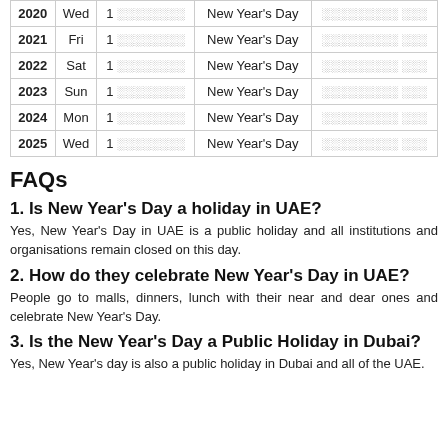| Year | Day | Date | Holiday | Local Name |
| --- | --- | --- | --- | --- |
| 2020 | Wed | 1 ░░░░░░░░░ | New Year's Day | ░░░░░░░░░ ░░░ |
| 2021 | Fri | 1 ░░░░░░░░░ | New Year's Day | ░░░░░░░░░ ░░░ |
| 2022 | Sat | 1 ░░░░░░░░░ | New Year's Day | ░░░░░░░░░ ░░░ |
| 2023 | Sun | 1 ░░░░░░░░░ | New Year's Day | ░░░░░░░░░ ░░░ |
| 2024 | Mon | 1 ░░░░░░░░░ | New Year's Day | ░░░░░░░░░ ░░░ |
| 2025 | Wed | 1 ░░░░░░░░░ | New Year's Day | ░░░░░░░░░ ░░░ |
FAQs
1. Is New Year's Day a holiday in UAE?
Yes, New Year's Day in UAE is a public holiday and all institutions and organisations remain closed on this day.
2. How do they celebrate New Year's Day in UAE?
People go to malls, dinners, lunch with their near and dear ones and celebrate New Year's Day.
3. Is the New Year's Day a Public Holiday in Dubai?
Yes, New Year's day is also a public holiday in Dubai and all of the UAE.